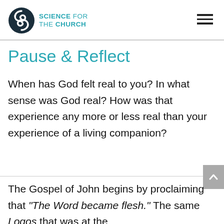can point in profound ways to deep
SCIENCE FOR THE CHURCH
Pause & Reflect
When has God felt real to you? In what sense was God real? How was that experience any more or less real than your experience of a living companion?
The Gospel of John begins by proclaiming that “The Word became flesh.” The same Logos that was at the beginning that was with God and